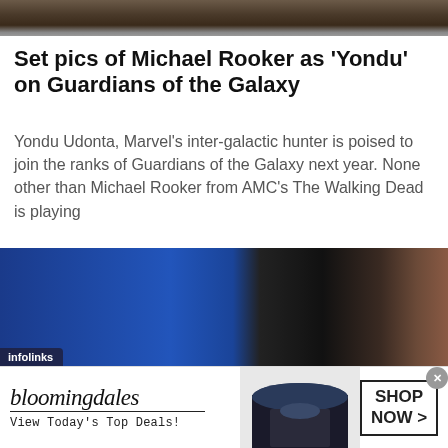[Figure (photo): Top strip photo showing legs/feet on ground, outdoor setting]
Set pics of Michael Rooker as ‘Yondu’ on Guardians of the Galaxy
Yondu Udonta, Marvel’s inter-galactic hunter is poised to join the ranks of Guardians of the Galaxy next year. None other than Michael Rooker from AMC’s The Walking Dead is playing
[Figure (photo): Photo of a person near a blue screen/background, dark setting, infolinks badge in lower left corner]
[Figure (photo): Bloomingdale's advertisement banner with model wearing wide-brim hat, SHOP NOW button]